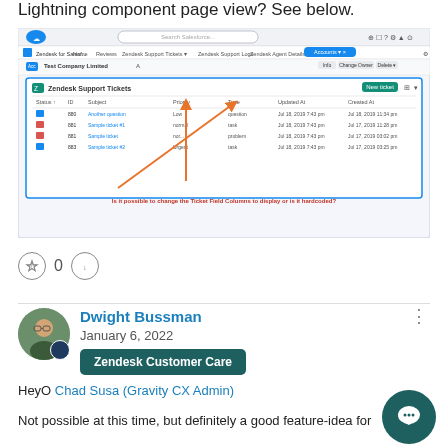Lightning component page view? See below.
[Figure (screenshot): Salesforce Lightning page screenshot showing the Zendesk Support Tickets component with a table of tickets (Status, ID, Subject, Priority, Type, Updated At, Created At columns) and orange arrows pointing to Priority and Type column headers. Orange text at bottom reads: 'Is it possible to change the Ticket Field Columns to display or is it hardcoded?']
0 votes (thumbs up and thumbs down buttons)
Dwight Bussman
January 6, 2022
Zendesk Customer Care
HeyO Chad Susa (Gravity CX Admin)
Not possible at this time, but definitely a good feature-idea for